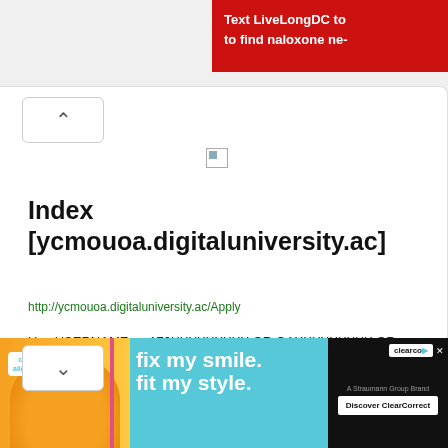[Figure (screenshot): Red advertisement banner at top right: 'Text LiveLongDC to to find naloxone ne-']
[Figure (screenshot): Browser navigation area with up chevron and broken image icon]
Index [ycmouoa.digitaluniversity.ac]
http://ycmouoa.digitaluniversity.ac/Apply
Use USERNAME as 170XXXXXXXXX OR OAXXXXXXXXX OR 6 digit PRN provided at the time of FIRST Admission. If the
[Figure (screenshot): Advertisement banner at bottom: 'fix my smile. fit my style. Discover ClearCorrect' with clear aligners branding]